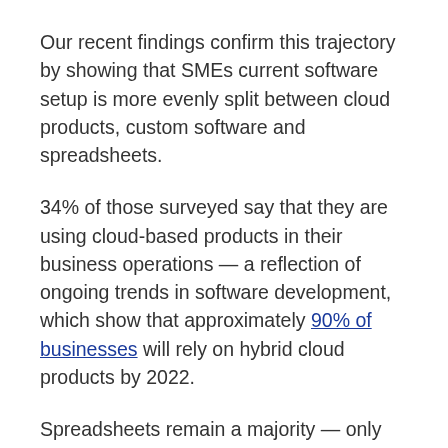Our recent findings confirm this trajectory by showing that SMEs current software setup is more evenly split between cloud products, custom software and spreadsheets.
34% of those surveyed say that they are using cloud-based products in their business operations — a reflection of ongoing trends in software development, which show that approximately 90% of businesses will rely on hybrid cloud products by 2022.
Spreadsheets remain a majority — only slightly, however — at 35%. These findings suggest that traditional software setups are in flux, as more and more SMEs realise the benefits of cloud-hosted, custom-built software. This should come as no surprise, given the ongoing risks to security